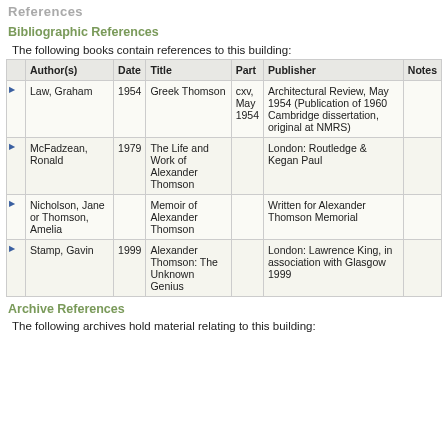References
Bibliographic References
The following books contain references to this building:
|  | Author(s) | Date | Title | Part | Publisher | Notes |
| --- | --- | --- | --- | --- | --- | --- |
| ▶ | Law, Graham | 1954 | Greek Thomson | cxv, May 1954 | Architectural Review, May 1954 (Publication of 1960 Cambridge dissertation, original at NMRS) |  |
| ▶ | McFadzean, Ronald | 1979 | The Life and Work of Alexander Thomson |  | London: Routledge & Kegan Paul |  |
| ▶ | Nicholson, Jane or Thomson, Amelia |  | Memoir of Alexander Thomson |  | Written for Alexander Thomson Memorial |  |
| ▶ | Stamp, Gavin | 1999 | Alexander Thomson: The Unknown Genius |  | London: Lawrence King, in association with Glasgow 1999 |  |
Archive References
The following archives hold material relating to this building: